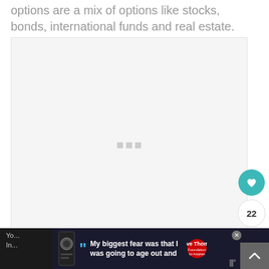options are a mix of options like stocks, bonds, international funds and real estate.
[Figure (other): Large empty light gray placeholder image area with three small gray square dots centered in the middle, representing a loading or placeholder image.]
22
You ... into NO Inc ...
My biggest fear was that I was going to age out and
Dave Thomas Foundation for Adoption advertisement banner